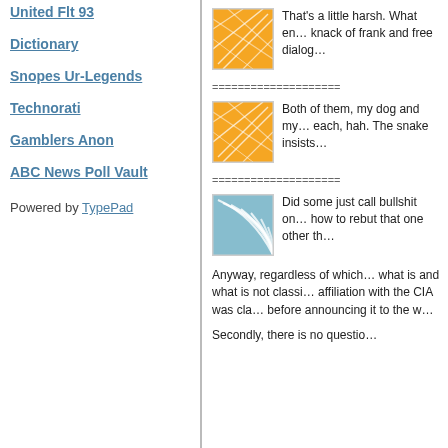United Flt 93
Dictionary
Snopes Ur-Legends
Technorati
Gamblers Anon
ABC News Poll Vault
Powered by TypePad
[Figure (illustration): Orange geometric abstract avatar icon with white intersecting lines]
That's a little harsh. What en... knack of frank and free dialog...
====================
[Figure (illustration): Orange geometric abstract avatar icon with white intersecting lines]
Both of them, my dog and my... each, hah. The snake insists...
====================
[Figure (illustration): Blue wave/fan pattern avatar icon]
Did some just call bullshit on... how to rebut that one other th...
Anyway, regardless of which... what is and what is not classi... affiliation with the CIA was cla... before announcing it to the w...
Secondly, there is no questio...